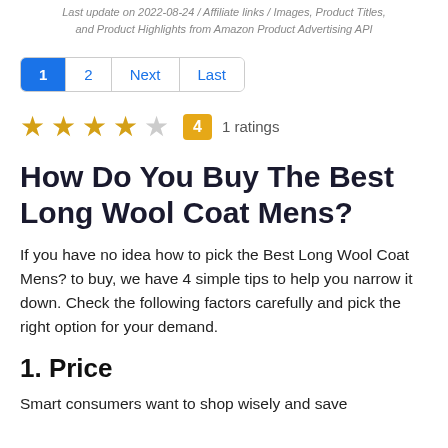Last update on 2022-08-24 / Affiliate links / Images, Product Titles, and Product Highlights from Amazon Product Advertising API
1  2  Next  Last
[Figure (other): Star rating: 4 out of 5 stars, with a yellow badge showing 4 and text '1 ratings']
How Do You Buy The Best Long Wool Coat Mens?
If you have no idea how to pick the Best Long Wool Coat Mens? to buy, we have 4 simple tips to help you narrow it down. Check the following factors carefully and pick the right option for your demand.
1. Price
Smart consumers want to shop wisely and save